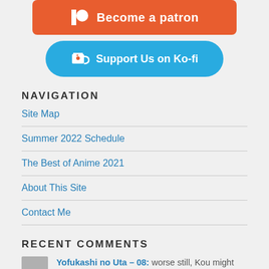[Figure (other): Patreon 'Become a patron' button (orange/red, partially cropped at top) and Ko-fi 'Support Us on Ko-fi' button (blue)]
NAVIGATION
Site Map
Summer 2022 Schedule
The Best of Anime 2021
About This Site
Contact Me
RECENT COMMENTS
Yofukashi no Uta – 08: worse still, Kou might have to witness